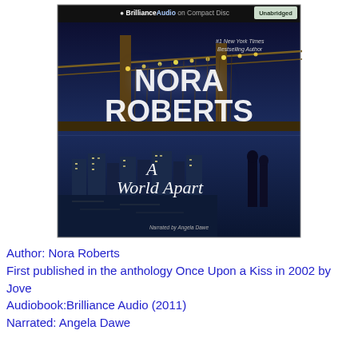[Figure (photo): Audiobook cover for 'A World Apart' by Nora Roberts. The cover shows a nighttime city bridge scene with bright lights. The top portion features large white text 'NORA ROBERTS' with '#1 New York Times Bestselling Author' in smaller text. The bottom half shows a city waterfront at night with a couple silhouetted. The title 'A World Apart' is written in elegant script. A banner at the top reads 'BrillianceAudio on Compact Disc' and 'Unabridged'. Small text at the bottom reads 'Narrated by Angela Dawe'.]
Author: Nora Roberts
First published in the anthology Once Upon a Kiss in 2002 by Jove
Audiobook:Brilliance Audio (2011)
Narrated: Angela Dawe